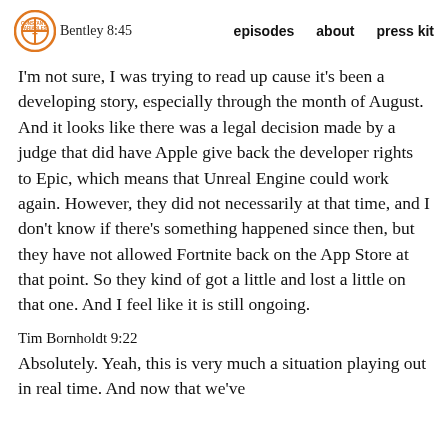Bentley 8:45  episodes  about  press kit
I'm not sure, I was trying to read up cause it's been a developing story, especially through the month of August. And it looks like there was a legal decision made by a judge that did have Apple give back the developer rights to Epic, which means that Unreal Engine could work again. However, they did not necessarily at that time, and I don't know if there's something happened since then, but they have not allowed Fortnite back on the App Store at that point. So they kind of got a little and lost a little on that one. And I feel like it is still ongoing.
Tim Bornholdt 9:22
Absolutely. Yeah, this is very much a situation playing out in real time. And now that we've